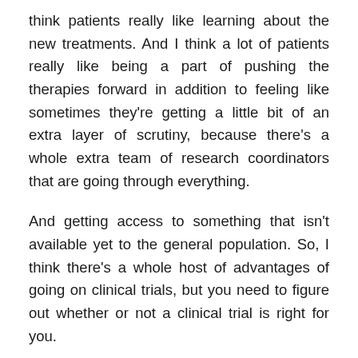think patients really like learning about the new treatments. And I think a lot of patients really like being a part of pushing the therapies forward in addition to feeling like sometimes they're getting a little bit of an extra layer of scrutiny, because there's a whole extra team of research coordinators that are going through everything.
And getting access to something that isn't available yet to the general population. So, I think there's a whole host of advantages of going on clinical trials, but you need to figure out whether or not a clinical trial is right for you.
Katherine Pennell